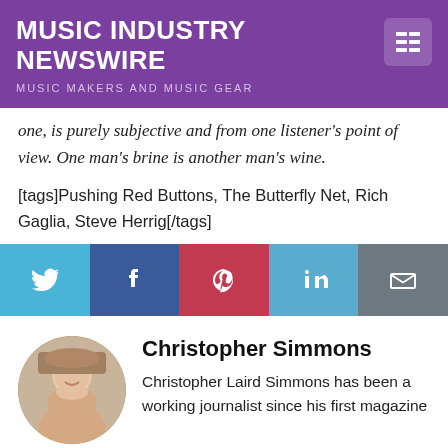MUSIC INDUSTRY NEWSWIRE
MUSIC MAKERS AND MUSIC GEAR
one, is purely subjective and from one listener's point of view. One man's brine is another man's wine.
[tags]Pushing Red Buttons, The Butterfly Net, Rich Gaglia, Steve Herrig[/tags]
[Figure (infographic): Social share buttons: Twitter, Facebook, Pinterest, LinkedIn, Email]
[Figure (photo): Circular headshot photo of Christopher Simmons]
Christopher Simmons
Christopher Laird Simmons has been a working journalist since his first magazine